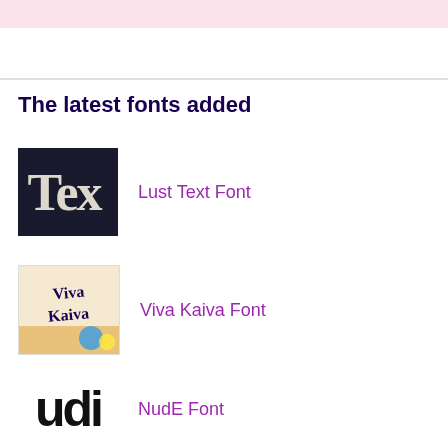The latest fonts added
Lust Text Font
Viva Kaiva Font
NudE Font
Modern Love